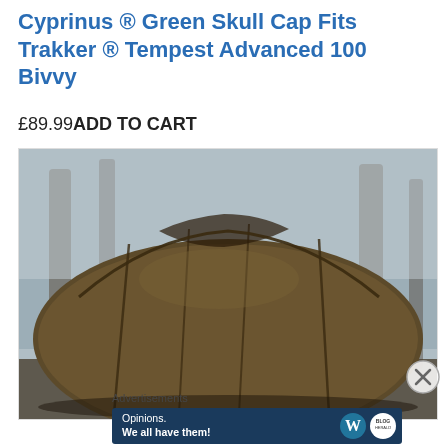Cyprinus ® Green Skull Cap Fits Trakker ® Tempest Advanced 100 Bivvy
£89.99ADD TO CART
[Figure (photo): Photograph of a dark olive/brown bivvy tent (Trakker Tempest Advanced 100) set up outdoors in a wooded area with bare winter trees in the blurred background. The dome-shaped shelter has visible poles and panel seams.]
Advertisements
[Figure (screenshot): Advertisement banner for WordPress.com: dark navy background with white text 'Opinions. We all have them!' alongside the WordPress 'W' logo and a second circular logo.]